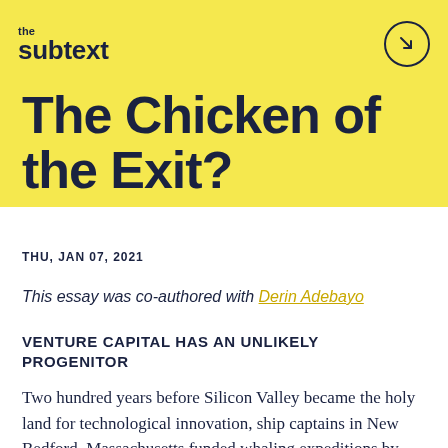the subtext
The Chicken of the Exit?
THU, JAN 07, 2021
This essay was co-authored with Derin Adebayo
VENTURE CAPITAL HAS AN UNLIKELY PROGENITOR
Two hundred years before Silicon Valley became the holy land for technological innovation, ship captains in New Bedford, Massachusetts funded whaling expeditions by raising money from the